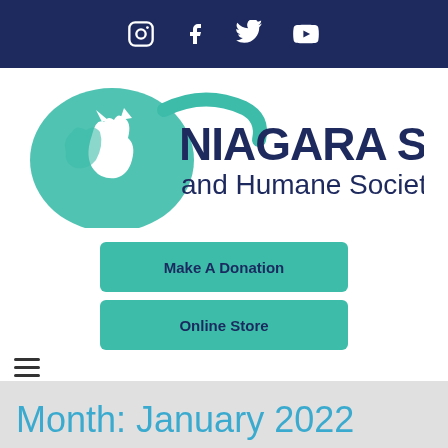Social media icons: Instagram, Facebook, Twitter, YouTube
[Figure (logo): Niagara SPCA and Humane Society logo with teal dog and cat silhouette and dark blue text]
Make A Donation
Online Store
[Figure (other): Hamburger menu icon (three horizontal lines)]
Month: January 2022
[Figure (photo): Partial view of a photo strip at the bottom of the page (brown/tan tones)]